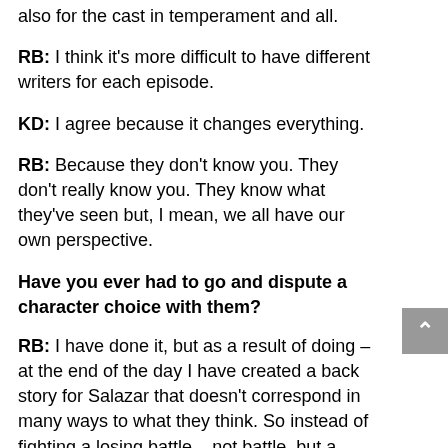also for the cast in temperament and all.
RB: I think it's more difficult to have different writers for each episode.
KD: I agree because it changes everything.
RB: Because they don't know you. They don't really know you. They know what they've seen but, I mean, we all have our own perspective.
Have you ever had to go and dispute a character choice with them?
RB: I have done it, but as a result of doing – at the end of the day I have created a back story for Salazar that doesn't correspond in many ways to what they think. So instead of fighting a losing battle – not battle, but a losing effort in trying to explain something I'd rather inform my own behaviour with my background and go and do it and do what they're